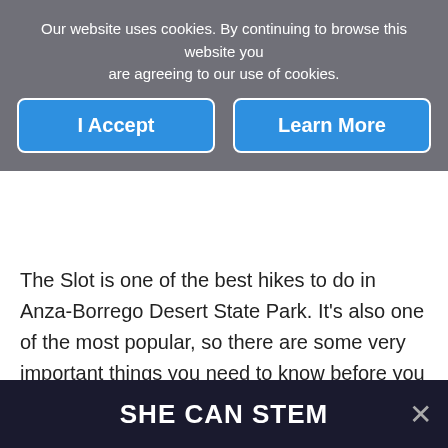Our website uses cookies. By continuing to browse this website you are agreeing to our use of cookies.
I Accept | Learn More
The Slot is one of the best hikes to do in Anza-Borrego Desert State Park. It’s also one of the most popular, so there are some very important things you need to know before you go.
In this guide, we cover the best hiking routes (there is more than one way to do this hike), and important planning details, such as how to get here, how much does it cost, and more.
SHE CAN STEM